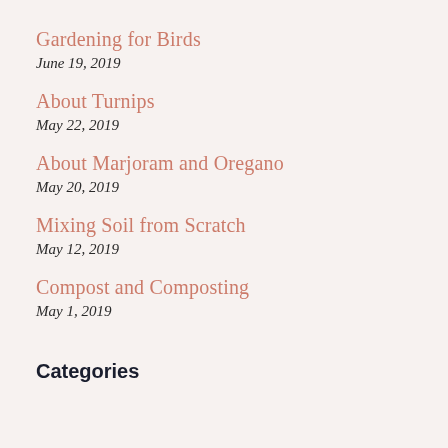Gardening for Birds
June 19, 2019
About Turnips
May 22, 2019
About Marjoram and Oregano
May 20, 2019
Mixing Soil from Scratch
May 12, 2019
Compost and Composting
May 1, 2019
Categories